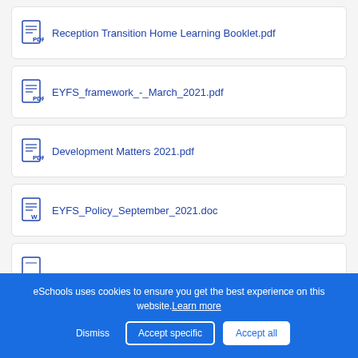Reception Transition Home Learning Booklet.pdf
EYFS_framework_-_March_2021.pdf
Development Matters 2021.pdf
EYFS_Policy_September_2021.doc
(partial item, cut off)
eSchools uses cookies to ensure you get the best experience on this website. Learn more
Dismiss | Accept specific | Accept all